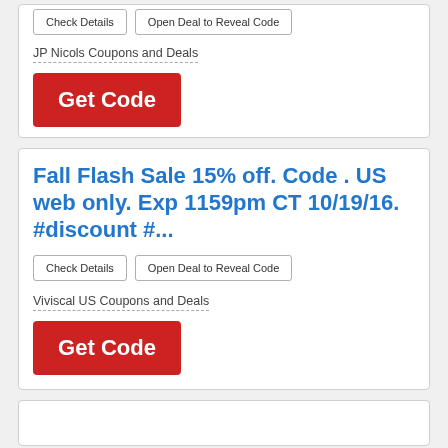[Figure (other): Top card partial showing two buttons: Check Details and Open Deal to Reveal Code]
JP Nicols Coupons and Deals
[Figure (other): Red Get Code button]
Fall Flash Sale 15% off. Code . US web only. Exp 1159pm CT 10/19/16. #discount #...
[Figure (other): Two buttons: Check Details and Open Deal to Reveal Code]
Viviscal US Coupons and Deals
[Figure (other): Red Get Code button]
[Figure (other): Bottom card stub partially visible]